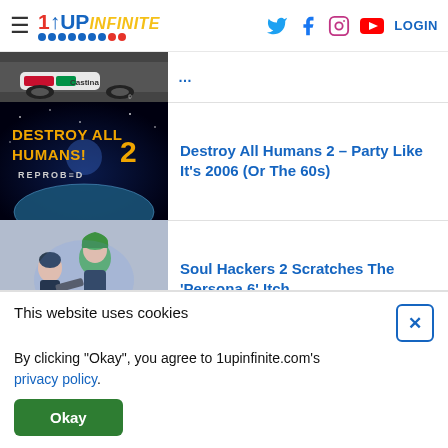1UP Infinite — Navigation header with hamburger menu, logo, social icons (Twitter, Facebook, Instagram, YouTube), and LOGIN link
[Figure (photo): Partial view of a racing car with Castina livery (top portion cut off), Unreal Engine logo visible]
(partially visible article title in blue)
[Figure (photo): Destroy All Humans! 2 Reprobed game cover art — stylized yellow text on dark space background with Earth]
Destroy All Humans 2 – Party Like It's 2006 (Or The 60s)
[Figure (photo): Soul Hackers 2 artwork showing anime-style characters including a green-haired woman]
Soul Hackers 2 Scratches The 'Persona 6' Itch
This website uses cookies
By clicking "Okay", you agree to 1upinfinite.com's privacy policy.
Okay